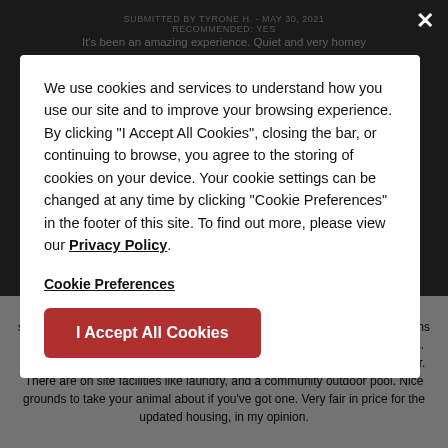SUBMITTED BY TYRONE H. - MAY 30, 2021
RECOMMENDED: YES
It's been an amazing experience. Quiet and very homey
SUBMITTED BY DANIELLE C. - MAY 16, 2021
RECOMMENDED: YES
I like the appartments — it is nice and quiet.
We use cookies and services to understand how you use our site and to improve your browsing experience. By clicking "I Accept All Cookies", closing the bar, or continuing to browse, you agree to the storing of cookies on your device. Your cookie settings can be changed at any time by clicking "Cookie Preferences" in the footer of this site. To find out more, please view our Privacy Policy.
Cookie Preferences
I Accept All Cookies
SUBMITTED BY JORDAN P. - APR 24, 2021
RECOMMENDED: YES
Pleasant Surprise — We have only been here a month, but the staff has been nothing but helpful and kind. The property management seems to be very polite and easy to work with, and always seen with smiling faces. The grounds are well kept and all the neighbors seem to be friendly as ever. There are on site facilities like laundry, and a community outdoor pool. Nice grounds to take your animal about if you've got one. Very fair in price for the updated housing, in my opinion.